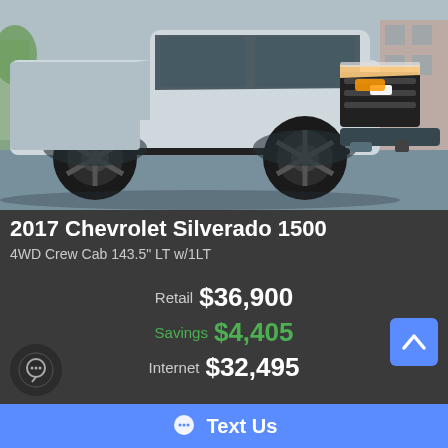[Figure (photo): Front three-quarter view of a silver 2017 Chevrolet Silverado 1500 pickup truck with black wheels and Z71 badging, parked in a dealer lot]
2017 Chevrolet Silverado 1500
4WD Crew Cab 143.5" LT w/1LT
Retail $36,900
Savings $4,405
Internet $32,495
Text Us